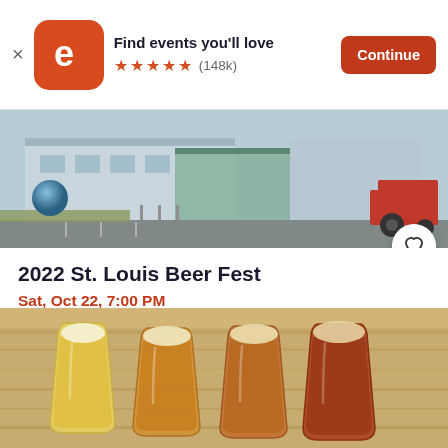Find events you'll love ★★★★★ (148k) Continue
[Figure (photo): Photo of Saint Louis Science Center building exterior with a red tractor visible on the right side]
2022 St. Louis Beer Fest
Sat, Oct 22, 7:00 PM
Saint Louis Science Center • St. Louis, MO
$50 - $65
[Figure (photo): Close-up photo of four glasses of beer in various shades from pale yellow to dark amber/red, arranged on a wooden surface]